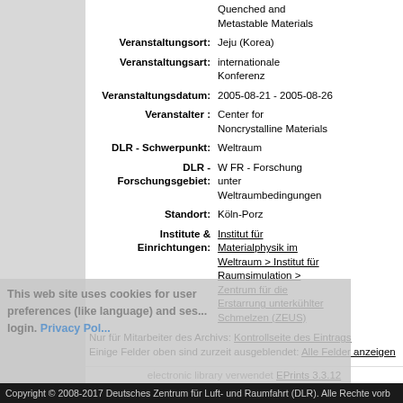| Label | Value |
| --- | --- |
| Veranstaltungsort: | Jeju (Korea) |
| Veranstaltungsart: | internationale Konferenz |
| Veranstaltungsdatum: | 2005-08-21 - 2005-08-26 |
| Veranstalter : | Center for Noncrystalline Materials |
| DLR - Schwerpunkt: | Weltraum |
| DLR - Forschungsgebiet: | W FR - Forschung unter Weltraumbedingungen |
| Standort: | Köln-Porz |
| Institute & Einrichtungen: | Institut für Materialphysik im Weltraum > Institut für Raumsimulation > Zentrum für die Erstarrung unterkühlter Schmelzen (ZEUS) |
Nur für Mitarbeiter des Archivs: Kontrollseite des Eintrags
Einige Felder oben sind zurzeit ausgeblendet: Alle Felder anzeigen
electronic library verwendet EPrints 3.3.12
Copyright © 2008-2017 Deutsches Zentrum für Luft- und Raumfahrt (DLR). Alle Rechte vorb...